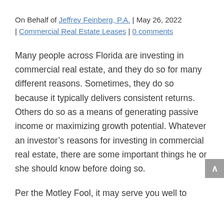On Behalf of Jeffrey Feinberg, P.A. | May 26, 2022 | Commercial Real Estate Leases | 0 comments
Many people across Florida are investing in commercial real estate, and they do so for many different reasons. Sometimes, they do so because it typically delivers consistent returns. Others do so as a means of generating passive income or maximizing growth potential. Whatever an investor's reasons for investing in commercial real estate, there are some important things he or she should know before doing so.
Per the Motley Fool, it may serve you well to